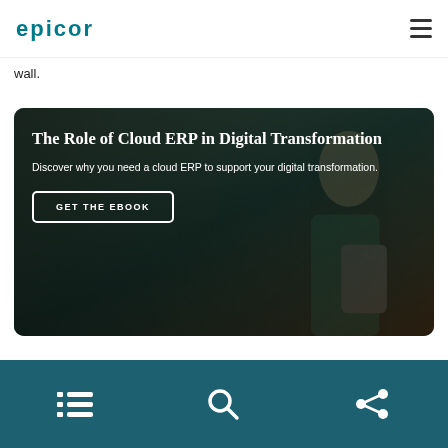EPICOR
wall.
[Figure (infographic): Promotional card with dark overlay background showing a woman holding a tablet. Contains title 'The Role of Cloud ERP in Digital Transformation', description text 'Discover why you need a cloud ERP to support your digital transformation.', and a 'GET THE EBOOK' button.]
Navigation bar with list/menu icon, search icon, and share icon